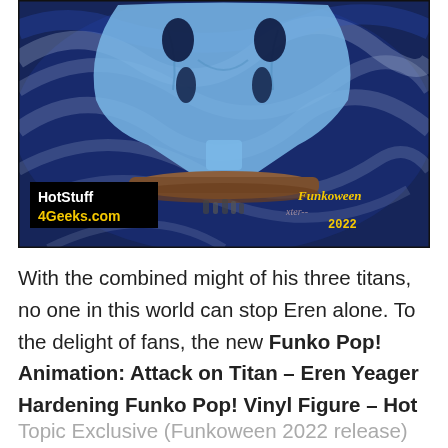[Figure (photo): Funko Pop vinyl figure of Eren Yeager Hardening from Attack on Titan, shown against a swirling dark blue and white background. The figure is a large blue translucent titan with muscular torso and no face detail. Overlaid logos: 'HotStuff 4Geeks.com' (black box, white and yellow text, bottom left) and 'Funkoween 2022' (yellow italic text, bottom right).]
With the combined might of his three titans, no one in this world can stop Eren alone. To the delight of fans, the new Funko Pop! Animation: Attack on Titan – Eren Yeager Hardening Funko Pop! Vinyl Figure – Hot Topic Exclusive (Funkoween 2022 release)